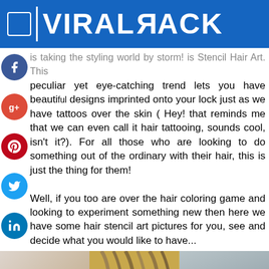VIRAL TRACK
peculiar yet eye-catching trend lets you have beautiful designs imprinted onto your lock just as we have tattoos over the skin ( Hey! that reminds me that we can even call it hair tattooing, sounds cool, isn't it?). For all those who are looking to do something out of the ordinary with their hair, this is just the thing for them!

Well, if you too are over the hair coloring game and looking to experiment something new then here we have some hair stencil art pictures for you, see and decide what you would like to have...
[Figure (photo): Three photos side by side showing hair stencil art, center shows a close-up of hair with peacock feather stencil design]
Social share bar with WhatsApp, Facebook, Twitter, WeChat, and More buttons